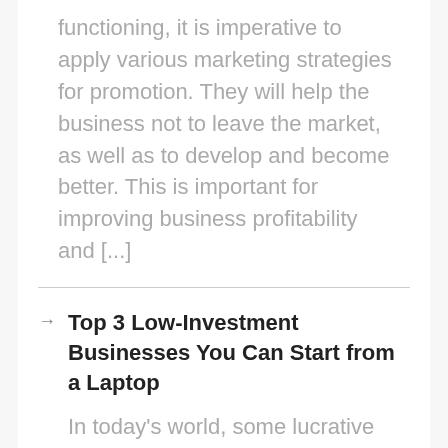functioning, it is imperative to apply various marketing strategies for promotion. They will help the business not to leave the market, as well as to develop and become better. This is important for improving business profitability and [...]
Top 3 Low-Investment Businesses You Can Start from a Laptop
In today's world, some lucrative businesses can be started right from a laptop. The best part is that some of those businesses require very little capital to start. Wondering what businesses we are talking about? You won't have to keep wondering for too long